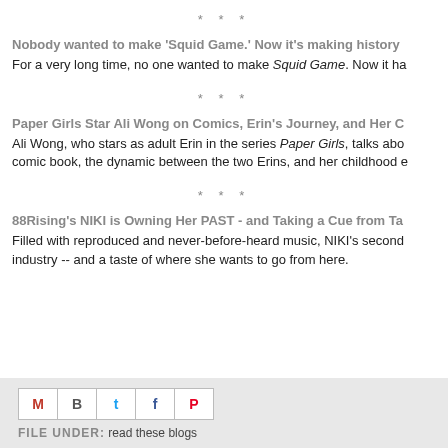* * *
Nobody wanted to make 'Squid Game.' Now it's making history
For a very long time, no one wanted to make Squid Game. Now it ha
* * *
Paper Girls Star Ali Wong on Comics, Erin's Journey, and Her C
Ali Wong, who stars as adult Erin in the series Paper Girls, talks abo comic book, the dynamic between the two Erins, and her childhood e
* * *
88Rising's NIKI is Owning Her PAST - and Taking a Cue from Ta
Filled with reproduced and never-before-heard music, NIKI's second industry -- and a taste of where she wants to go from here.
FILE UNDER: read these blogs